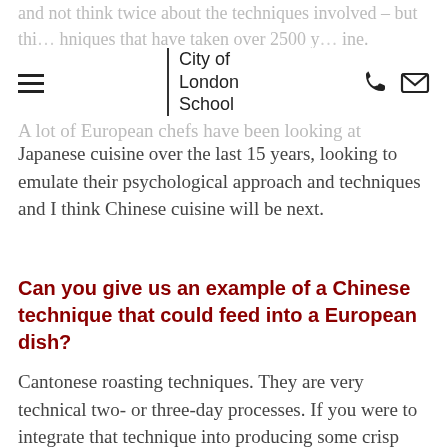and not think twice about the techniques involved – but thi... hniques that have taken over 2500 y... ine.
[Figure (logo): City of London School logo with vertical bar and text]
A lot of European chefs have been looking at Japanese cuisine over the last 15 years, looking to emulate their psychological approach and techniques and I think Chinese cuisine will be next.
Can you give us an example of a Chinese technique that could feed into a European dish?
Cantonese roasting techniques. They are very technical two- or three-day processes. If you were to integrate that technique into producing some crisp pork belly, say, on a regular European menu, you would massively